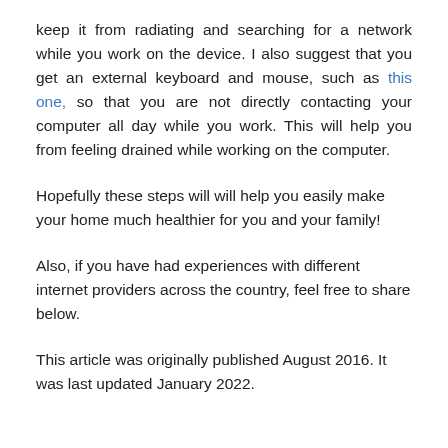keep it from radiating and searching for a network while you work on the device. I also suggest that you get an external keyboard and mouse, such as this one, so that you are not directly contacting your computer all day while you work. This will help you from feeling drained while working on the computer.
Hopefully these steps will will help you easily make your home much healthier for you and your family!
Also, if you have had experiences with different internet providers across the country, feel free to share below.
This article was originally published August 2016. It was last updated January 2022.